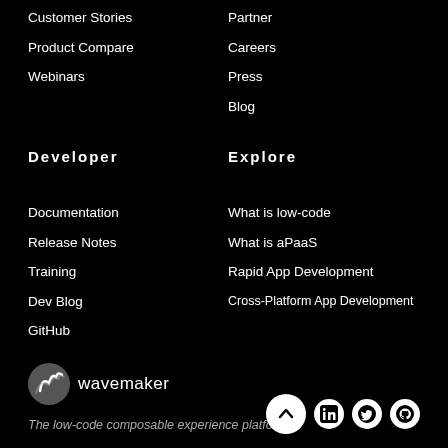Customer Stories
Partner
Product Compare
Careers
Webinars
Press
Blog
Developer
Explore
Documentation
What is low-code
Release Notes
What is aPaaS
Training
Rapid App Development
Dev Blog
Cross-Platform App Development
GitHub
[Figure (logo): Wavemaker logo with spiral wave icon and text 'wavemaker']
The low-code composable experience platform